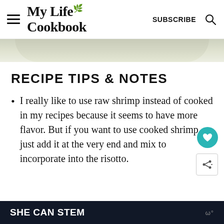My Life Cookbook — SUBSCRIBE
[Figure (photo): Partial top view of a white plate or bowl, cropped strip showing cream/white curved dish edge]
RECIPE TIPS & NOTES
I really like to use raw shrimp instead of cooked in my recipes because it seems to have more flavor. But if you want to use cooked shrimp just add it at the very end and mix to incorporate into the risotto.
SHE CAN STEM